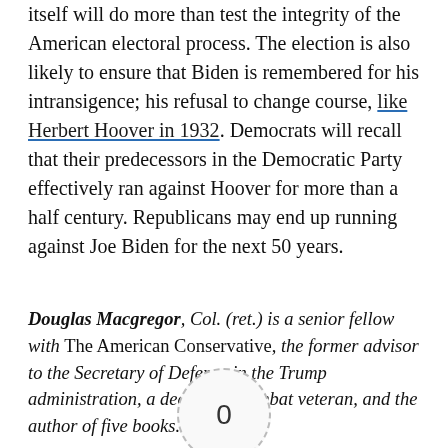itself will do more than test the integrity of the American electoral process. The election is also likely to ensure that Biden is remembered for his intransigence; his refusal to change course, like Herbert Hoover in 1932. Democrats will recall that their predecessors in the Democratic Party effectively ran against Hoover for more than a half century. Republicans may end up running against Joe Biden for the next 50 years.
Douglas Macgregor, Col. (ret.) is a senior fellow with The American Conservative, the former advisor to the Secretary of Defense in the Trump administration, a decorated combat veteran, and the author of five books.
[Figure (other): Article Rating widget showing a dashed circle with the number 0 in the center, flanked by dashes, with 'Article Rating' label below, and mountain silhouette icons at the bottom]